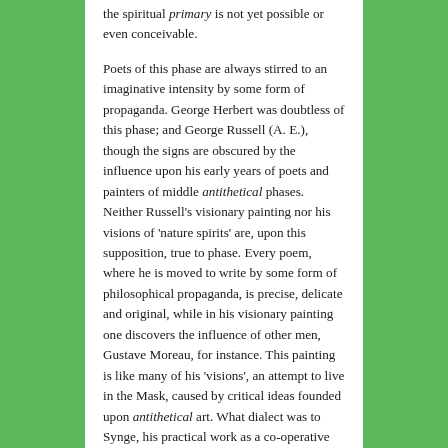the spiritual primary is not yet possible or even conceivable.
Poets of this phase are always stirred to an imaginative intensity by some form of propaganda. George Herbert was doubtless of this phase; and George Russell (A. E.), though the signs are obscured by the influence upon his early years of poets and painters of middle antithetical phases. Neither Russell's visionary painting nor his visions of 'nature spirits' are, upon this supposition, true to phase. Every poem, where he is moved to write by some form of philosophical propaganda, is precise, delicate and original, while in his visionary painting one discovers the influence of other men, Gustave Moreau, for instance. This painting is like many of his 'visions', an attempt to live in the Mask, caused by critical ideas founded upon antithetical art. What dialect was to Synge, his practical work as a co-operative organiser was to him, and he found precise ideas and sincere emotion in the expression of conviction. He learned practically, but not theoretically, that he must